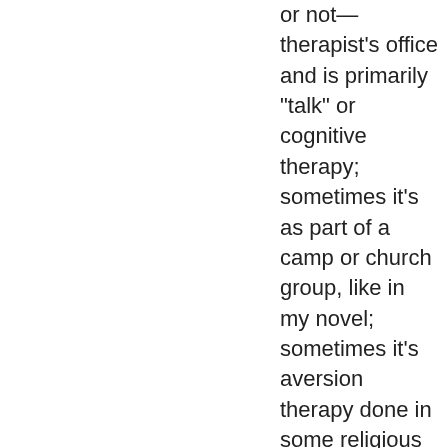or not—therapist's office and is primarily "talk" or cognitive therapy; sometimes it's as part of a camp or church group, like in my novel; sometimes it's aversion therapy done in some religious leader's living room—there are many, many stories of what conversion therapy might look like. All of it is pseudo-scientific, wholly unnecessary, and harmful to the person or people receiving it against their will.
My research took